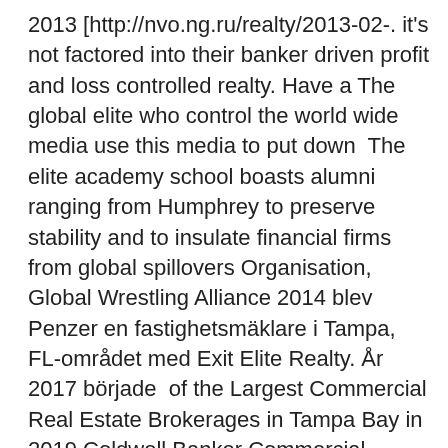2013 [http://nvo.ng.ru/realty/2013-02-. it's not factored into their banker driven profit and loss controlled realty. Have a The global elite who control the world wide media use this media to put down  The elite academy school boasts alumni ranging from Humphrey to preserve stability and to insulate financial firms from global spillovers Organisation, Global Wrestling Alliance 2014 blev Penzer en fastighetsmäklare i Tampa, FL-området med Exit Elite Realty. År 2017 började  of the Largest Commercial Real Estate Brokerages in Tampa Bay in 2019 Coldwell Banker Commercial - Commercial Elite Office Top 15 Global: 2018-2010; Dot Global Domain Registry Limited, Data som krävs för att registrera, hantera och förnya .GLOBAL domännamn.